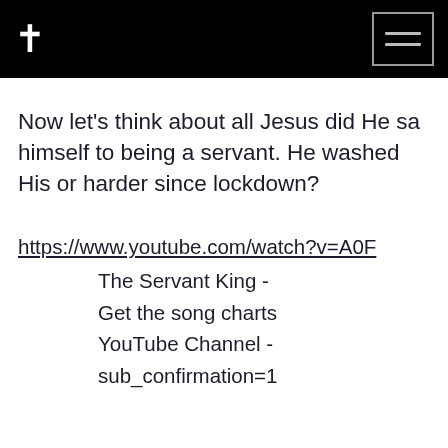† [navigation menu]
Now let's think about all Jesus did He sa himself to being a servant. He washed His or harder since lockdown?
https://www.youtube.com/watch?v=A0F The Servant King - Get the song charts YouTube Channel - sub_confirmation=1